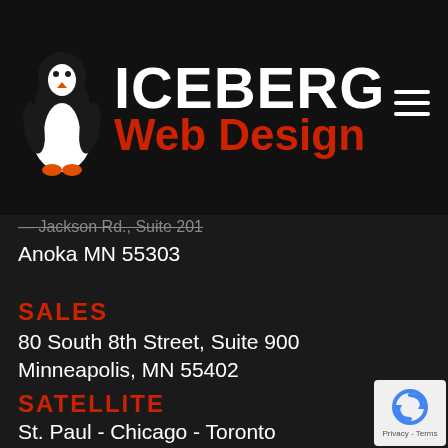[Figure (logo): Iceberg Web Design logo with penguin illustration on dark background, white ICEBERG text and red Web Design text]
— Jackson Rd., Suite 201
Anoka MN 55303
SALES
80 South 8th Street, Suite 900
Minneapolis, MN 55402
SATELLITE
St. Paul - Chicago - Toronto
[Figure (logo): Google reCAPTCHA badge with Privacy - Terms text]